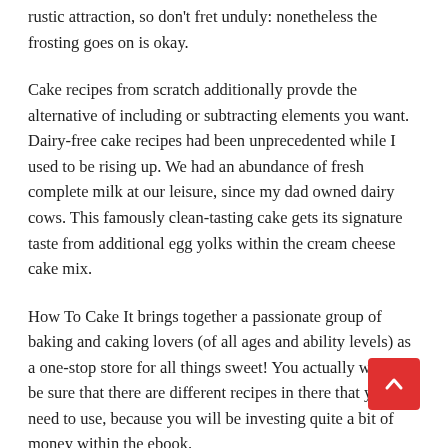rustic attraction, so don't fret unduly: nonetheless the frosting goes on is okay.
Cake recipes from scratch additionally provde the alternative of including or subtracting elements you want. Dairy-free cake recipes had been unprecedented while I used to be rising up. We had an abundance of fresh complete milk at our leisure, since my dad owned dairy cows. This famously clean-tasting cake gets its signature taste from additional egg yolks within the cream cheese cake mix.
How To Cake It brings together a passionate group of baking and caking lovers (of all ages and ability levels) as a one-stop store for all things sweet! You actually wish to be sure that there are different recipes in there that you need to use, because you will be investing quite a bit of money within the ebook.